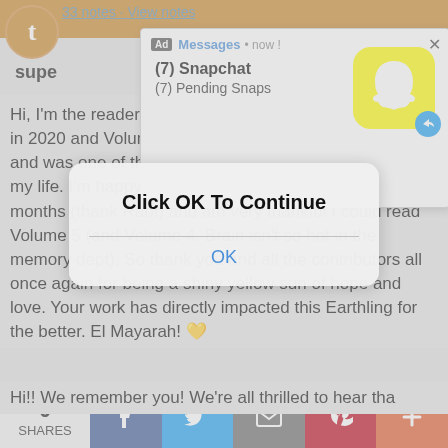33 notes · View notes
supe
[Figure (screenshot): Snapchat ad notification popup showing '(7) Snapchat' and '(7) Pending Snaps' with Snapchat logo]
Hi, I'm the reader who was diagnosed with cancer back in 2020 and Volume 3 arrived in the middle of all that and was one of the few bright spots in that moment in my life. I'm happy to say I've been cancer-free for 18 months (thank Rao!) and am very thankful I could read Volume 5 (and Volume 4. Brain isn't so hot in the memory dept). So thank you and all the contributors all once again for being a shiny yellow sun of hope and love. Your work has directly impacted this Earthling for the better. El Mayarah! 💛
Hi!! We remember you! We're all thrilled to hear tha
[Figure (screenshot): Click OK To Continue dialog box with OK button]
0 SHARES | Facebook | Twitter | Email | Pinterest | Plus